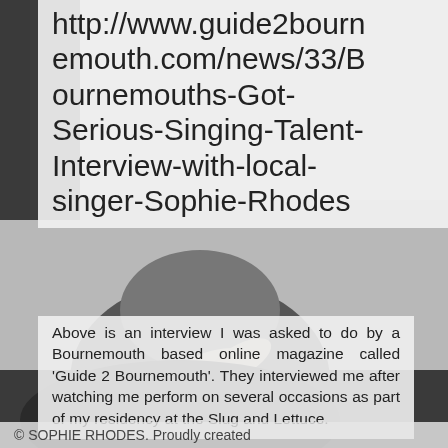[Figure (photo): Black and white photograph of a person (singer Sophie Rhodes), partially visible behind overlaid text panels. The image shows hands raised near the face against a light background.]
http://www.guide2bournemouth.com/news/33/Bournemouths-Got-Serious-Singing-Talent-Interview-with-local-singer-Sophie-Rhodes
Above is an interview I was asked to do by a Bournemouth based online magazine called 'Guide 2 Bournemouth'. They interviewed me after watching me perform on several occasions as part of my residency at the Slug and Lettuce.
© SOPHIE RHODES. Proudly created